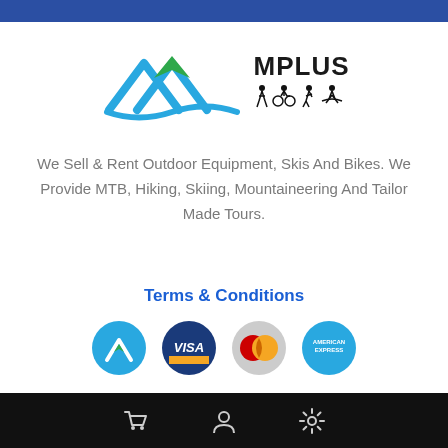[Figure (logo): MPLUS outdoor sports logo with blue mountain/arrow shape and activity icons (hiking, cycling, running, kayaking)]
We Sell & Rent Outdoor Equipment, Skis And Bikes. We Provide MTB, Hiking, Skiing, Mountaineering And Tailor Made Tours.
Terms & Conditions
[Figure (other): Payment method icons: MPLUS logo circle, Visa, Mastercard, American Express]
STORIES
CONTACT US
Navigation bar with cart, user, and settings icons